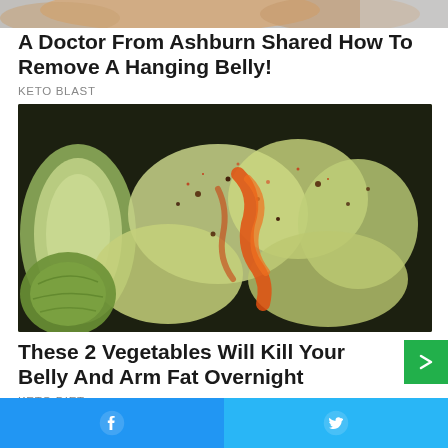[Figure (photo): Partial top image - bottom edge of a photo, appears to show a hand or skin, cropped]
A Doctor From Ashburn Shared How To Remove A Hanging Belly!
KETO BLAST
[Figure (photo): Close-up food photo of sliced cucumber pieces with red hot sauce and spices drizzled on top, dark bowl background]
These 2 Vegetables Will Kill Your Belly And Arm Fat Overnight
KETO DIET
Facebook share button | Twitter share button